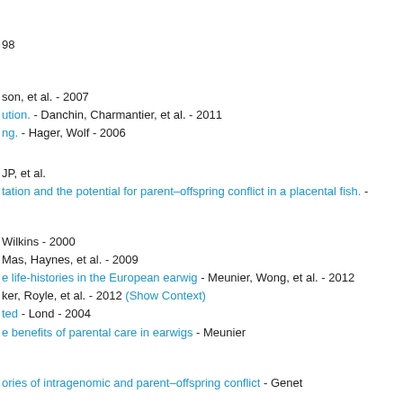98
son, et al. - 2007
ution. - Danchin, Charmantier, et al. - 2011
ng. - Hager, Wolf - 2006
JP, et al.
tation and the potential for parent–offspring conflict in a placental fish. -
Wilkins - 2000
Mas, Haynes, et al. - 2009
e life-histories in the European earwig - Meunier, Wong, et al. - 2012
ker, Royle, et al. - 2012 (Show Context)
ted - Lond - 2004
e benefits of parental care in earwigs - Meunier
ories of intragenomic and parent–offspring conflict - Genet